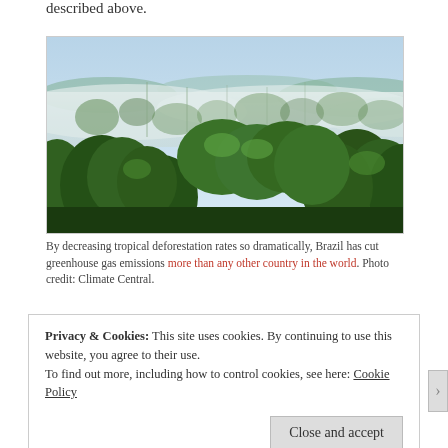described above.
[Figure (photo): Aerial view of Amazon tropical rainforest with mist/fog between tree canopies, green trees in foreground and misty haze over dense forest in background. Photo credit: Climate Central.]
By decreasing tropical deforestation rates so dramatically, Brazil has cut greenhouse gas emissions more than any other country in the world. Photo credit: Climate Central.
Privacy & Cookies: This site uses cookies. By continuing to use this website, you agree to their use.
To find out more, including how to control cookies, see here: Cookie Policy
Close and accept